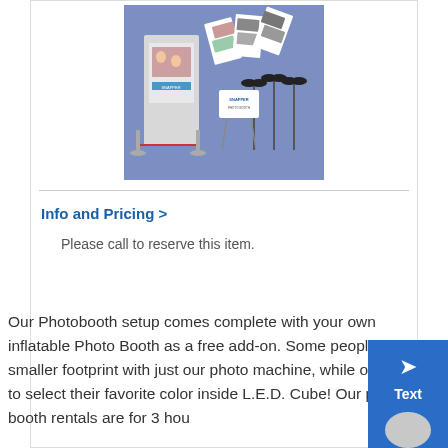[Figure (photo): Photo booth machine with photo strips and mustache props on a blue background]
Info and Pricing >
Please call to reserve this item.
Our Photobooth setup comes complete with your own inflatable Photo Booth as a free add-on. Some people like the smaller footprint with just our photo machine, while others love to select their favorite color inside L.E.D. Cube! Our photo booth rentals are for 3 hou...